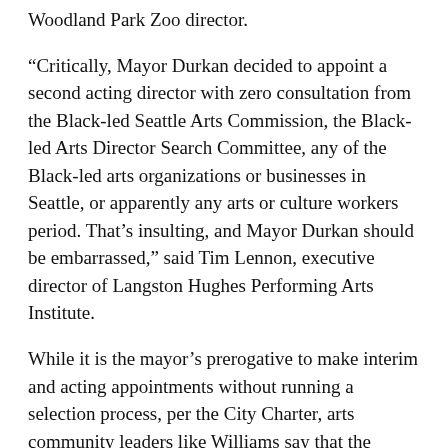Woodland Park Zoo director.
“Critically, Mayor Durkan decided to appoint a second acting director with zero consultation from the Black-led Seattle Arts Commission, the Black-led Arts Director Search Committee, any of the Black-led arts organizations or businesses in Seattle, or apparently any arts or culture workers period. That’s insulting, and Mayor Durkan should be embarrassed,” said Tim Lennon, executive director of Langston Hughes Performing Arts Institute.
While it is the mayor’s prerogative to make interim and acting appointments without running a selection process, per the City Charter, arts community leaders like Williams say that the mayor had no reason to so blatantly disregard ARTS staff and other arts community stakeholders only to replace one interim with another.
“We thought the Office of Arts and Culture was operating